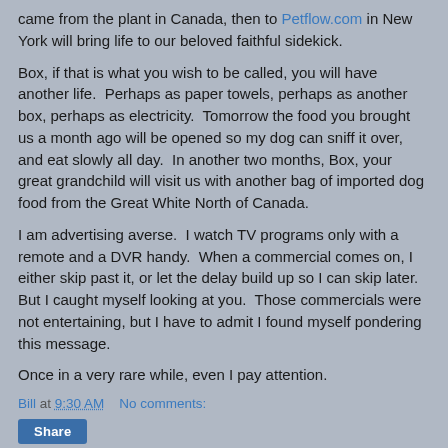came from the plant in Canada, then to Petflow.com in New York will bring life to our beloved faithful sidekick.
Box, if that is what you wish to be called, you will have another life.  Perhaps as paper towels, perhaps as another box, perhaps as electricity.  Tomorrow the food you brought us a month ago will be opened so my dog can sniff it over, and eat slowly all day.  In another two months, Box, your great grandchild will visit us with another bag of imported dog food from the Great White North of Canada.
I am advertising averse.  I watch TV programs only with a remote and a DVR handy.  When a commercial comes on, I either skip past it, or let the delay build up so I can skip later.  But I caught myself looking at you.  Those commercials were not entertaining, but I have to admit I found myself pondering this message.
Once in a very rare while, even I pay attention.
Bill at 9:30 AM    No comments:
Share